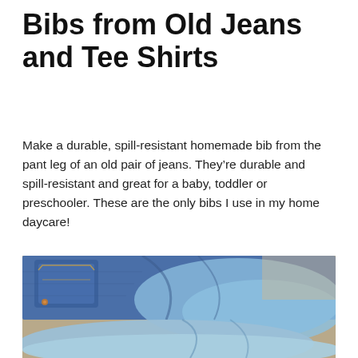Bibs from Old Jeans and Tee Shirts
Make a durable, spill-resistant homemade bib from the pant leg of an old pair of jeans. They’re durable and spill-resistant and great for a baby, toddler or preschooler. These are the only bibs I use in my home daycare!
[Figure (photo): Stacked and folded old blue jeans in various shades of denim, close-up view showing pockets and fabric texture]